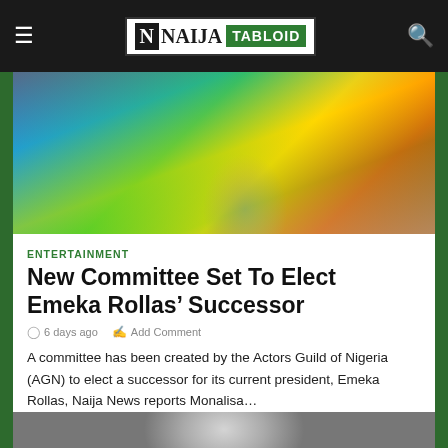NAIJA TABLOID
[Figure (photo): A person wearing colorful traditional Nigerian attire, close-up shot showing face and upper body]
ENTERTAINMENT
New Committee Set To Elect Emeka Rollas’ Successor
6 days ago   Add Comment
A committee has been created by the Actors Guild of Nigeria (AGN) to elect a successor for its current president, Emeka Rollas, Naija News reports Monalisa…
[Figure (photo): A person portrait photo, partially visible at the bottom of the page]